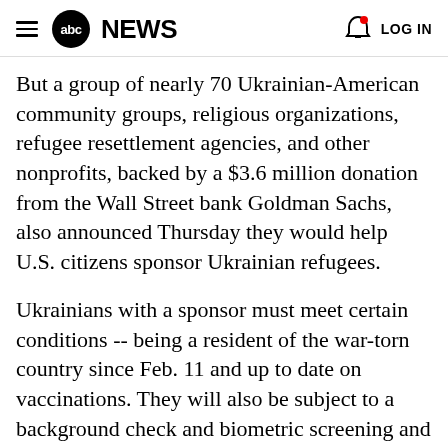abc NEWS   LOG IN
But a group of nearly 70 Ukrainian-American community groups, religious organizations, refugee resettlement agencies, and other nonprofits, backed by a $3.6 million donation from the Wall Street bank Goldman Sachs, also announced Thursday they would help U.S. citizens sponsor Ukrainian refugees.
Ukrainians with a sponsor must meet certain conditions -- being a resident of the war-torn country since Feb. 11 and up to date on vaccinations. They will also be subject to a background check and biometric screening and other security checks, according to the